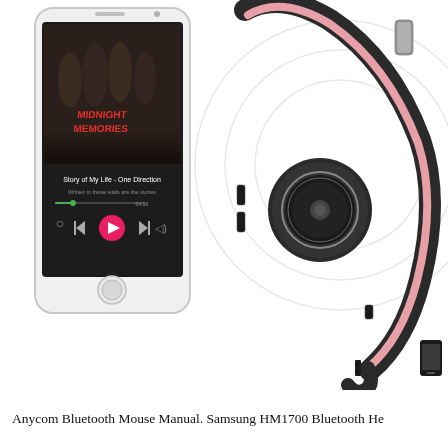[Figure (photo): Product photo showing a white smartphone displaying a music player app (playing 'Story of My Life - One Direction' / 'Midnight Memories') alongside a pink and black Bluetooth headset. A small smartphone icon appears in the bottom-right corner.]
Anycom Bluetooth Mouse Manual. Samsung HM1700 Bluetooth He